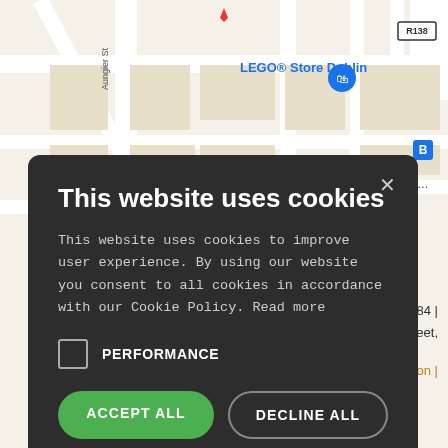[Figure (screenshot): Google Maps screenshot showing streets near Stephen's Green Shopping Centre and LEGO Store Dublin in Dublin city centre. Map shows Aungier Street, road R138, and location pins.]
[Figure (screenshot): Cookie consent modal dialog with dark background on top of a website. Contains title 'This website uses cookies', body text about cookie usage, a PERFORMANCE checkbox, ACCEPT ALL and DECLINE ALL buttons, SHOW DETAILS link, and POWERED BY COOKIE-SCRIPT footer.]
This website uses cookies
This website uses cookies to improve user experience. By using our website you consent to all cookies in accordance with our Cookie Policy. Read more
PERFORMANCE
ACCEPT ALL
DECLINE ALL
SHOW DETAILS
POWERED BY COOKIE-SCRIPT
0 / 0872549884 | uth William Street,
g Information |